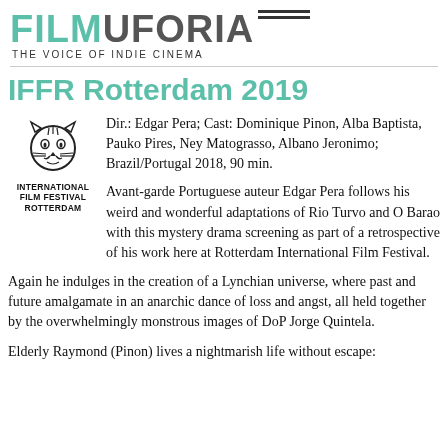FILMUFORIA — THE VOICE OF INDIE CINEMA
IFFR Rotterdam 2019
[Figure (logo): International Film Festival Rotterdam tiger logo with text INTERNATIONAL FILM FESTIVAL ROTTERDAM]
Dir.: Edgar Pera; Cast: Dominique Pinon, Alba Baptista, Pauko Pires, Ney Matograsso, Albano Jeronimo; Brazil/Portugal 2018, 90 min.
Avant-garde Portuguese auteur Edgar Pera follows his weird and wonderful adaptations of Rio Turvo and O Barao with this mystery drama screening as part of a retrospective of his work here at Rotterdam International Film Festival.
Again he indulges in the creation of a Lynchian universe, where past and future amalgamate in an anarchic dance of loss and angst, all held together by the overwhelmingly monstrous images of DoP Jorge Quintela.
Elderly Raymond (Pinon) lives a nightmarish life without escape: